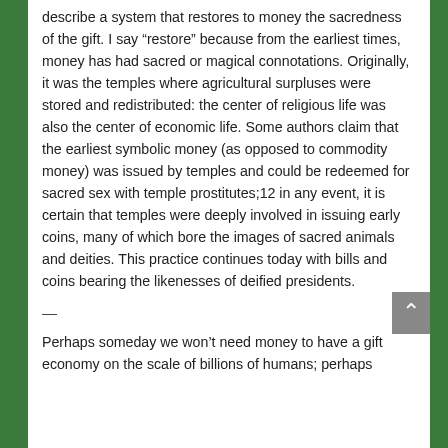describe a system that restores to money the sacredness of the gift. I say “restore” because from the earliest times, money has had sacred or magical connotations. Originally, it was the temples where agricultural surpluses were stored and redistributed: the center of religious life was also the center of economic life. Some authors claim that the earliest symbolic money (as opposed to commodity money) was issued by temples and could be redeemed for sacred sex with temple prostitutes;12 in any event, it is certain that temples were deeply involved in issuing early coins, many of which bore the images of sacred animals and deities. This practice continues today with bills and coins bearing the likenesses of deified presidents.
—
Perhaps someday we won’t need money to have a gift economy on the scale of billions of humans; perhaps